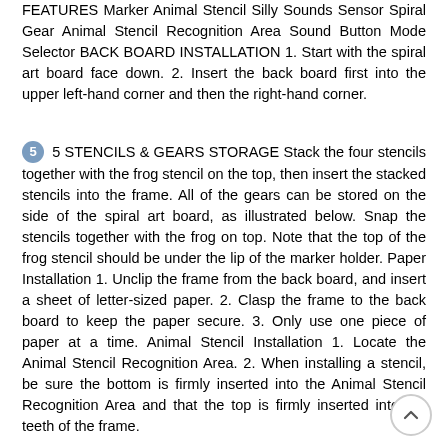FEATURES Marker Animal Stencil Silly Sounds Sensor Spiral Gear Animal Stencil Recognition Area Sound Button Mode Selector BACK BOARD INSTALLATION 1. Start with the spiral art board face down. 2. Insert the back board first into the upper left-hand corner and then the right-hand corner.
5  5 STENCILS & GEARS STORAGE Stack the four stencils together with the frog stencil on the top, then insert the stacked stencils into the frame. All of the gears can be stored on the side of the spiral art board, as illustrated below. Snap the stencils together with the frog on top. Note that the top of the frog stencil should be under the lip of the marker holder. Paper Installation 1. Unclip the frame from the back board, and insert a sheet of letter-sized paper. 2. Clasp the frame to the back board to keep the paper secure. 3. Only use one piece of paper at a time. Animal Stencil Installation 1. Locate the Animal Stencil Recognition Area. 2. When installing a stencil, be sure the bottom is firmly inserted into the Animal Stencil Recognition Area and that the top is firmly inserted into the teeth of the frame.